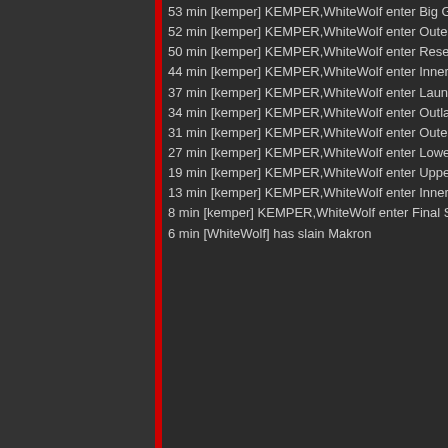53 min [kemper] KEMPER,WhiteWolf enter Big Gu...
52 min [kemper] KEMPER,WhiteWolf enter Outer I...
50 min [kemper] KEMPER,WhiteWolf enter Resea...
44 min [kemper] KEMPER,WhiteWolf enter Inner H...
37 min [kemper] KEMPER,WhiteWolf enter Launch...
34 min [kemper] KEMPER,WhiteWolf enter Outlan...
31 min [kemper] KEMPER,WhiteWolf enter Outer C...
27 min [kemper] KEMPER,WhiteWolf enter Lower ...
19 min [kemper] KEMPER,WhiteWolf enter Upper ...
13 min [kemper] KEMPER,WhiteWolf enter Inner C...
8 min [kemper] KEMPER,WhiteWolf enter Final Sh...
6 min [WhiteWolf] has slain Makron
The hardest part was to resist jumping into those pretty s...
[Figure (screenshot): Dark screenshot showing glowing red geometric lines/shapes against a black background, likely from a video game environment.]